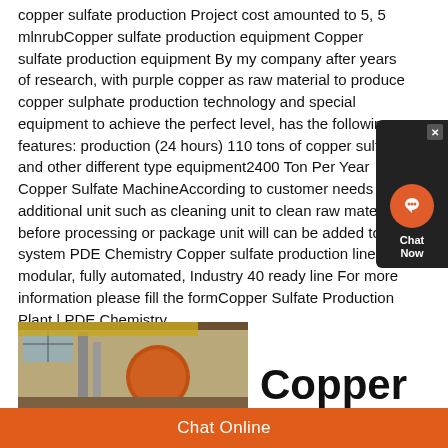copper sulfate production Project cost amounted to 5, 5 mlnrubCopper sulfate production equipment Copper sulfate production equipment By my company after years of research, with purple copper as raw material to produce copper sulphate production technology and special equipment to achieve the perfect level, has the following features: production (24 hours) 110 tons of copper sulfa and other different type equipment2400 Ton Per Year Copper Sulfate MachineAccording to customer needs additional unit such as cleaning unit to clean raw material before processing or package unit will can be added to the system PDE Chemistry Copper sulfate production line is a modular, fully automated, Industry 40 ready line For more information please fill the formCopper Sulfate Production Plant | PDE Chemistry
[Figure (photo): Factory interior showing industrial equipment for copper sulfate production, partially visible on the left side of the page bottom.]
Copper
Chat Online